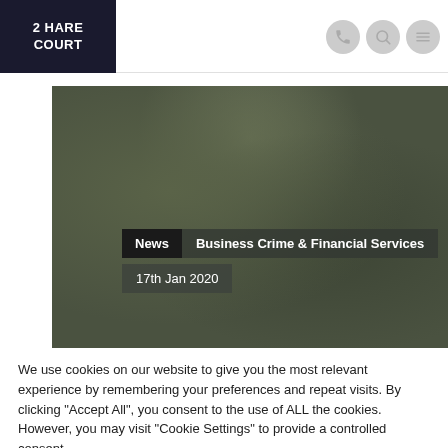2 HARE COURT
[Figure (photo): Dark olive/green textured background image with overlaid news category labels: 'News', 'Business Crime & Financial Services', and date '17th Jan 2020']
We use cookies on our website to give you the most relevant experience by remembering your preferences and repeat visits. By clicking "Accept All", you consent to the use of ALL the cookies. However, you may visit "Cookie Settings" to provide a controlled consent.
Cookie Settings | Accept All